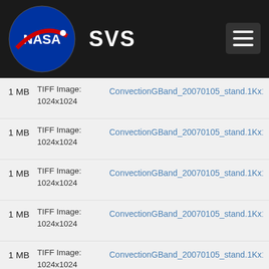NASA SVS
1 MB  TIFF Image: 1024x1024  ConvectionGBand_20070105_stand.1Kx1K.00201
1 MB  TIFF Image: 1024x1024  ConvectionGBand_20070105_stand.1Kx1K.00202
1 MB  TIFF Image: 1024x1024  ConvectionGBand_20070105_stand.1Kx1K.00203
1 MB  TIFF Image: 1024x1024  ConvectionGBand_20070105_stand.1Kx1K.00204
1 MB  TIFF Image: 1024x1024  ConvectionGBand_20070105_stand.1Kx1K.00205
1 MB  TIFF Image: 1024x1024  ConvectionGBand_20070105_stand.1Kx1K.00206
1 MB  TIFF Image: 1024x1024  ConvectionGBand_20070105_stand.1Kx1K.00207
1 MB  TIFF Image: 1024x1024  ConvectionGBand_20070105_stand.1Kx1K.00208
1 MB  TIFF Image: 1024x1024  ConvectionGBand_20070105_stand.1Kx1K.00209
1 MB  TIFF Image:  ConvectionGBand_20070105_stand.1Kx1K.002...